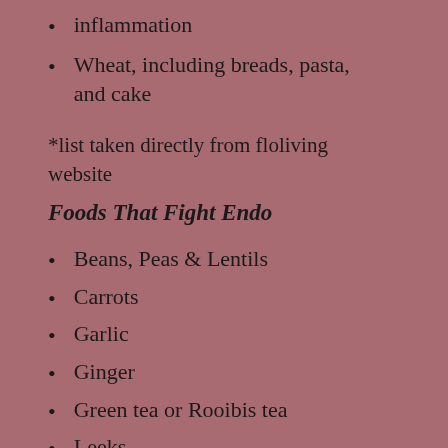inflammation
Wheat, including breads, pasta, and cake
*list taken directly from floliving website
Foods That Fight Endo
Beans, Peas & Lentils
Carrots
Garlic
Ginger
Green tea or Rooibis tea
Leeks